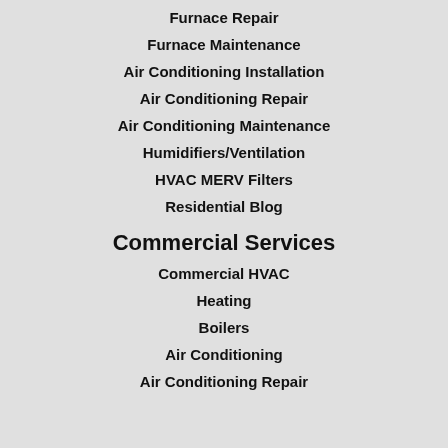Furnace Repair
Furnace Maintenance
Air Conditioning Installation
Air Conditioning Repair
Air Conditioning Maintenance
Humidifiers/Ventilation
HVAC MERV Filters
Residential Blog
Commercial Services
Commercial HVAC
Heating
Boilers
Air Conditioning
Air Conditioning Repair